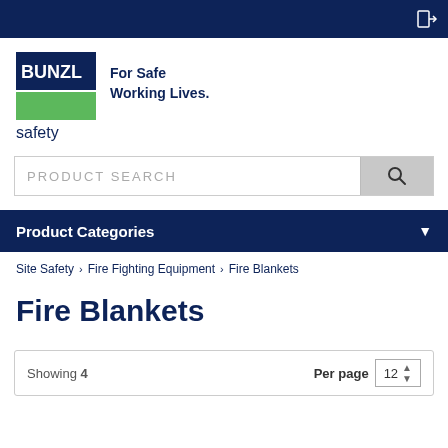[Figure (logo): Bunzl Safety logo with blue rectangle, green rectangle, BUNZL text in blue, and tagline 'For Safe Working Lives.']
safety
PRODUCT SEARCH
Product Categories
Site Safety > Fire Fighting Equipment > Fire Blankets
Fire Blankets
Showing 4  Per page  12